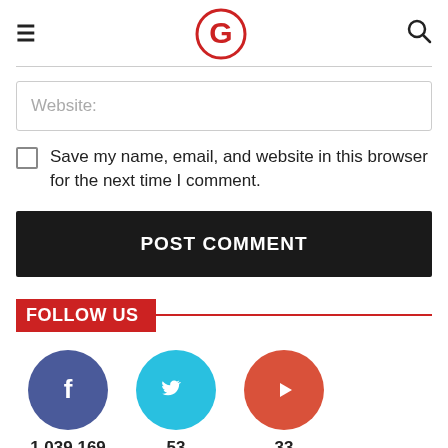[Figure (logo): G logo in red circle, website header with hamburger menu and search icon]
Website:
Save my name, email, and website in this browser for the next time I comment.
POST COMMENT
FOLLOW US
1,039,169
53
33